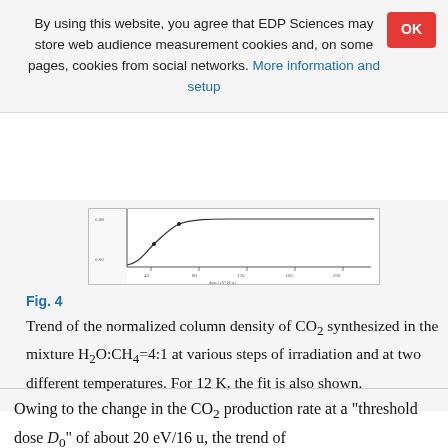By using this website, you agree that EDP Sciences may store web audience measurement cookies and, on some pages, cookies from social networks. More information and setup
[Figure (continuous-plot): Partially visible scientific chart showing a curve against dose axis, cropped at top of visible content area.]
Fig. 4
Trend of the normalized column density of CO2 synthesized in the mixture H2O:CH4=4:1 at various steps of irradiation and at two different temperatures. For 12 K, the fit is also shown.
Owing to the change in the CO2 production rate at a “threshold dose D0” of about 20 eV/16 u, the trend of